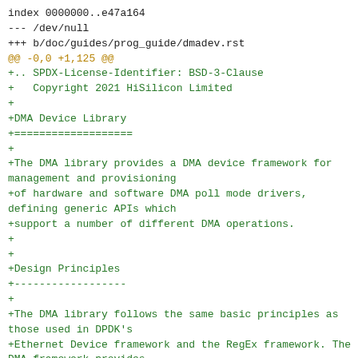index 0000000..e47a164
--- /dev/null
+++ b/doc/guides/prog_guide/dmadev.rst
@@ -0,0 +1,125 @@
+.. SPDX-License-Identifier: BSD-3-Clause
+   Copyright 2021 HiSilicon Limited
+
+DMA Device Library
+===================
+
+The DMA library provides a DMA device framework for management and provisioning
+of hardware and software DMA poll mode drivers, defining generic APIs which
+support a number of different DMA operations.
+
+
+Design Principles
+------------------
+
+The DMA library follows the same basic principles as those used in DPDK's
+Ethernet Device framework and the RegEx framework. The DMA framework provides
+a generic DMA device framework which supports both physical (hardware)
+and virtual (software) DMA devices as well as a generic DMA API which allows
+DMA devices to be managed and configured and supports DMA operations to be